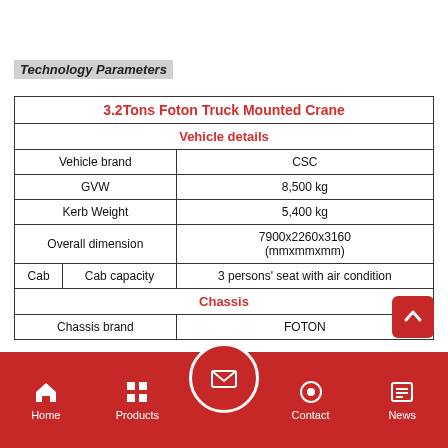Technology Parameters
| 3.2Tons Foton Truck Mounted Crane |
| --- |
| Vehicle details |  |  |
| Vehicle brand | CSC |
| GVW | 8,500 kg |
| Kerb Weight | 5,400 kg |
| Overall dimension | 7900x2260x3160 (mmxmmxmm) |
| Cab | Cab capacity | 3 persons' seat with air condition |
| Chassis |  |  |
| Chassis brand | FOTON |
Home  Products  Contact  News